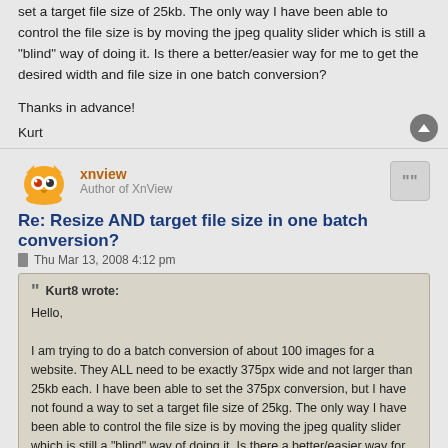set a target file size of 25kb. The only way I have been able to control the file size is by moving the jpeg quality slider which is still a "blind" way of doing it. Is there a better/easier way for me to get the desired width and file size in one batch conversion?
Thanks in advance!
Kurt
xnview
Author of XnView
Re: Resize AND target file size in one batch conversion?
Thu Mar 13, 2008 4:12 pm
Kurt8 wrote:
Hello,

I am trying to do a batch conversion of about 100 images for a website. They ALL need to be exactly 375px wide and not larger than 25kb each. I have been able to set the 375px conversion, but I have not found a way to set a target file size of 25kg. The only way I have been able to control the file size is by moving the jpeg quality slider which is still a "blind" way of doing it. Is there a better/easier way for me to get